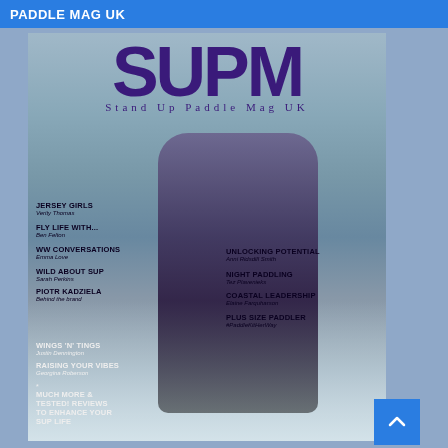PADDLE MAG UK
[Figure (photo): Magazine cover of SUPM (Stand Up Paddle Mag UK) showing a female paddle boarder riding a wave in a purple vest and black leggings, holding a paddle. Large purple SUPM logo at top, with various article titles overlaid on the cover image.]
SUPM Stand Up Paddle Mag UK
JERSEY GIRLS - Verity Thomas
FLY LIFE WITH... - Ben Felton
WW CONVERSATIONS - Emma Love
WILD ABOUT SUP - Sarah Perkins
PIOTR KADZIELA - Behind the brand
WINGS 'N' TINGS - Justin Dennington
RAISING YOUR VIBES - Georgina Roberson
* MUCH MORE & TESTED! REVIEWS TO ENHANCE YOUR SUP LIFE
UNLOCKING POTENTIAL - Anni Ridsdill Smith
NIGHT PADDLING - Tez Plavenieks
COASTAL LEADERSHIP - Elaine Farquharson
PLUS SIZE PADDLER - #PaddleKitHerWay